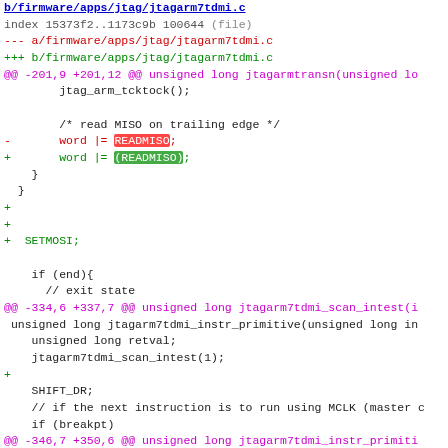[Figure (screenshot): Code diff view of firmware/apps/jtag/jtagarm7tdmi.c showing removed and added lines in a git diff format with syntax highlighting]
b/firmware/apps/jtag/jtagarm7tdmi.c
index 15373f2..1173c9b 100644 (file)
--- a/firmware/apps/jtag/jtagarm7tdmi.c
+++ b/firmware/apps/jtag/jtagarm7tdmi.c
@@ -201,9 +201,12 @@ unsigned long jtagarmtransn(unsigned lo
jtag_arm_tcktock();
/* read MISO on trailing edge */
-       word |= READMISO;
+       word |= (READMISO);
}
}
+
+
+  SETMOSI;
if (end){
// exit state
@@ -334,6 +337,7 @@ unsigned long jtagarm7tdmi_scan_intest(i
unsigned long jtagarm7tdmi_instr_primitive(unsigned long in
unsigned long retval;
jtagarm7tdmi_scan_intest(1);
+
SHIFT_DR;
// if the next instruction is to run using MCLK (master c
if (breakpt)
@@ -346,7 +350,6 @@ unsigned long jtagarm7tdmi_instr_primiti
CLRMOSI;
count_dbgspd_instr_since_debug++;
}
-